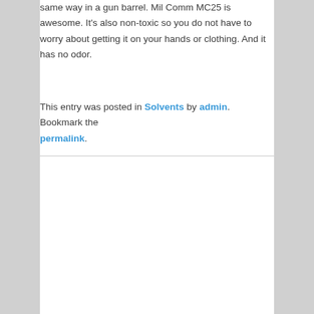same way in a gun barrel. Mil Comm MC25 is awesome. It's also non-toxic so you do not have to worry about getting it on your hands or clothing. And it has no odor.
This entry was posted in Solvents by admin. Bookmark the permalink.